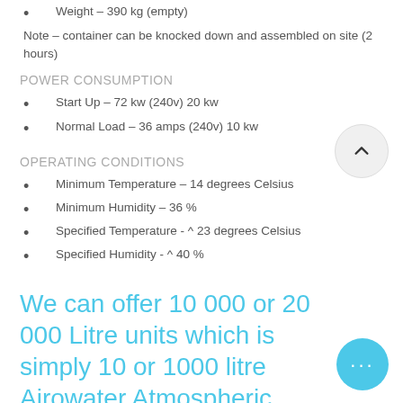Weight – 390 kg (empty)
Note – container can be knocked down and assembled on site (2 hours)
POWER CONSUMPTION
Start Up – 72 kw (240v) 20 kw
Normal Load – 36 amps (240v) 10 kw
OPERATING CONDITIONS
Minimum Temperature – 14 degrees Celsius
Minimum Humidity – 36 %
Specified Temperature - ^ 23 degrees Celsius
Specified Humidity - ^ 40 %
We can offer 10 000 or 20 000 Litre units which is simply 10 or 1000 litre Airowater Atmospheric